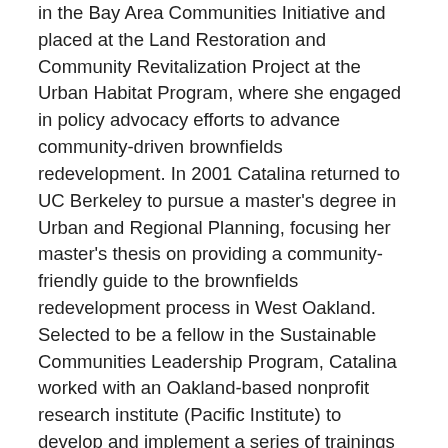in the Bay Area Communities Initiative and placed at the Land Restoration and Community Revitalization Project at the Urban Habitat Program, where she engaged in policy advocacy efforts to advance community-driven brownfields redevelopment. In 2001 Catalina returned to UC Berkeley to pursue a master's degree in Urban and Regional Planning, focusing her master's thesis on providing a community-friendly guide to the brownfields redevelopment process in West Oakland. Selected to be a fellow in the Sustainable Communities Leadership Program, Catalina worked with an Oakland-based nonprofit research institute (Pacific Institute) to develop and implement a series of trainings on refinery flaring and open space preservation with community leaders and activists in Richmond and North Richmond. In 2003 Catalina began her doctoral studies. Two years later she traveled to the nation of Colombia as a Human Rights Center Fellow to provide research support to the U'Wa Defense Project, an indigenous rights organization working to protect U'Wa land and communities from oil extraction. Currently, Catalina is writing a dissertation on participatory research collaborations between researchers and